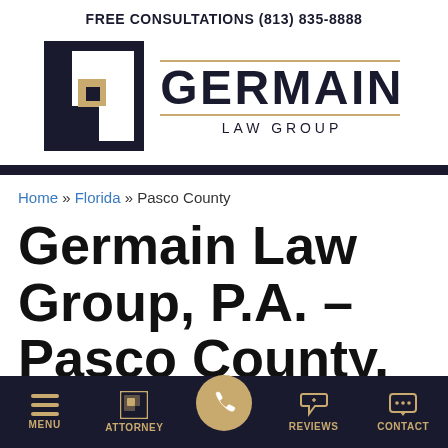FREE CONSULTATIONS (813) 835-8888
[Figure (logo): Germain Law Group logo with dark navy square G icon and gold accent, with GERMAIN in large bold navy letters and LAW GROUP below with gold horizontal rule]
Home » Florida » Pasco County
Germain Law Group, P.A. – Pasco County, Florida
[Figure (infographic): Mobile app bottom navigation bar with dark navy background showing: MENU (hamburger icon), ATTORNEY (G logo icon), phone call circle button (gold circle center), REVIEWS (thumbs up icon), CONTACT (speech bubble icon) - all in gold/tan color]